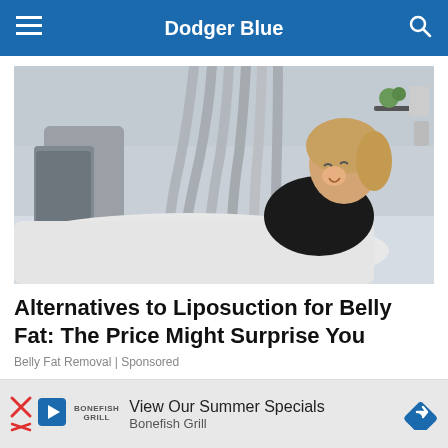Dodger Blue
[Figure (photo): A smiling woman lying on a medical treatment bed surrounded by multiple gray flexible hoses attached to a CoolSculpting or body contouring device in a clinical setting.]
Alternatives to Liposuction for Belly Fat: The Price Might Surprise You
Belly Fat Removal | Sponsored
[Figure (infographic): Advertisement banner for Bonefish Grill showing a play button icon, logo text, and the text 'View Our Summer Specials' with a blue diamond arrow icon on the right.]